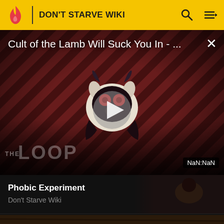DON'T STARVE WIKI
[Figure (screenshot): Video player showing 'Cult of the Lamb Will Suck You In - ...' with diagonal red/dark striped background, a cartoon lamb mascot character in center, play button overlay, THE LOOP watermark, and NaN:NaN timestamp in bottom right]
Phobic Experiment
Don't Starve Wiki
[Figure (screenshot): Partial thumbnail of a dark brown wooden textured scene with a small white/gold character at the bottom center]